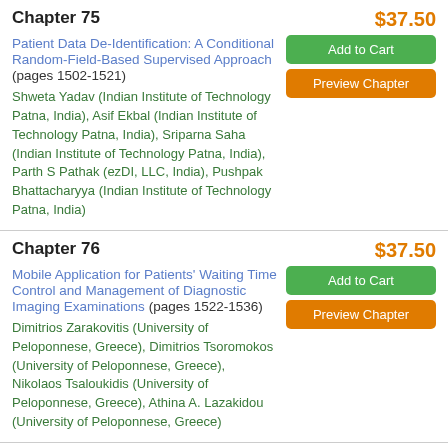Chapter 75
$37.50
Patient Data De-Identification: A Conditional Random-Field-Based Supervised Approach (pages 1502-1521)
Add to Cart
Preview Chapter
Shweta Yadav (Indian Institute of Technology Patna, India), Asif Ekbal (Indian Institute of Technology Patna, India), Sriparna Saha (Indian Institute of Technology Patna, India), Parth S Pathak (ezDI, LLC, India), Pushpak Bhattacharyya (Indian Institute of Technology Patna, India)
Chapter 76
$37.50
Mobile Application for Patients' Waiting Time Control and Management of Diagnostic Imaging Examinations (pages 1522-1536)
Add to Cart
Preview Chapter
Dimitrios Zarakovitis (University of Peloponnese, Greece), Dimitrios Tsoromokos (University of Peloponnese, Greece), Nikolaos Tsaloukidis (University of Peloponnese, Greece), Athina A. Lazakidou (University of Peloponnese, Greece)
Chapter 77
$37.50